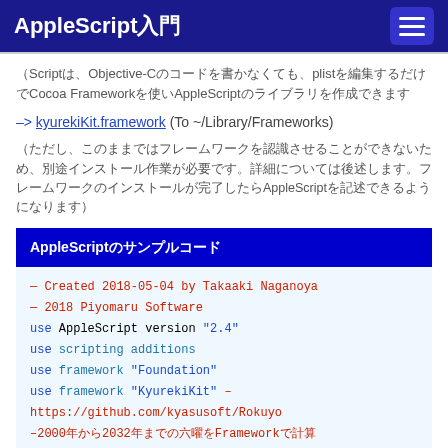AppleScript入門
（Scriptは、Objective-Cのコードを書かなくても、plistを編集するだけでCocoaFrameworkを使いAppleScriptのライブラリを作成できます
–> kyurekiKit.framework (To ~/Library/Frameworks)
（ただし、このままではフレームワークを認識させることができないため、別途インストール作業が必要です。詳細については後述します。）
AppleScriptのサンプルコード
— Created 2018-05-04 by Takaaki Naganoya
— 2018 Piyomaru Software
use AppleScript version "2.4"
use scripting additions
use framework "Foundation"
use framework "KyurekiKit" –
https://github.com/kyasusoft/Rokuyo
–2000年から2032年までの六曜をFrameworkで計算